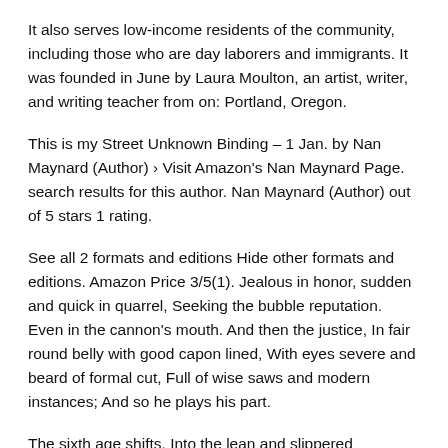It also serves low-income residents of the community, including those who are day laborers and immigrants. It was founded in June by Laura Moulton, an artist, writer, and writing teacher from on: Portland, Oregon.
This is my Street Unknown Binding – 1 Jan. by Nan Maynard (Author) › Visit Amazon's Nan Maynard Page. search results for this author. Nan Maynard (Author) out of 5 stars 1 rating.
See all 2 formats and editions Hide other formats and editions. Amazon Price 3/5(1). Jealous in honor, sudden and quick in quarrel, Seeking the bubble reputation. Even in the cannon's mouth. And then the justice, In fair round belly with good capon lined, With eyes severe and beard of formal cut, Full of wise saws and modern instances; And so he plays his part.
The sixth age shifts. Into the lean and slippered pantaloon. STAGE IV Barbers Collins Street. Since opening our doors our team of Barbers have prided themselves on attention to detail, consistency and customer service.